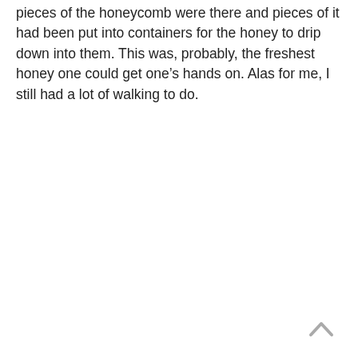pieces of the honeycomb were there and pieces of it had been put into containers for the honey to drip down into them. This was, probably, the freshest honey one could get one’s hands on. Alas for me, I still had a lot of walking to do.